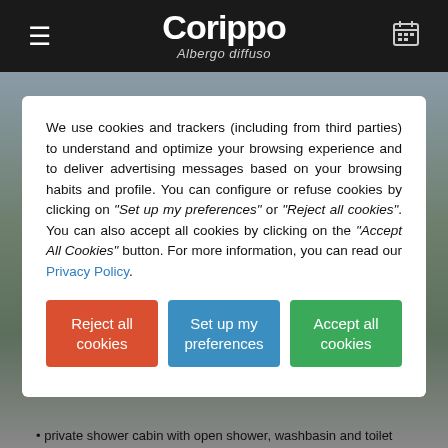Corippo Albergo diffuso
We use cookies and trackers (including from third parties) to understand and optimize your browsing experience and to deliver advertising messages based on your browsing habits and profile. You can configure or refuse cookies by clicking on "Set up my preferences" or "Reject all cookies". You can also accept all cookies by clicking on the "Accept All Cookies" button. For more information, you can read our Privacy Policy.
private shower cabin with open shower, washbasin and toilet